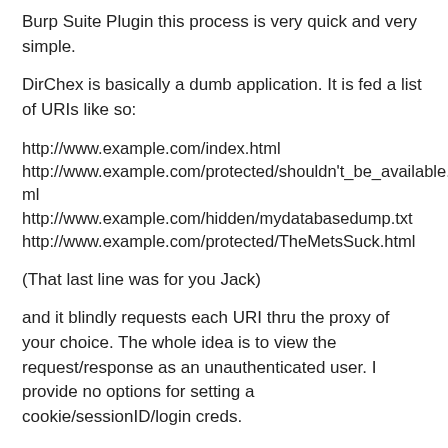Burp Suite Plugin this process is very quick and very simple.
DirChex is basically a dumb application. It is fed a list of URIs like so:
http://www.example.com/index.html
http://www.example.com/protected/shouldn't_be_available.html
http://www.example.com/hidden/mydatabasedump.txt
http://www.example.com/protected/TheMetsSuck.html
(That last line was for you Jack)
and it blindly requests each URI thru the proxy of your choice. The whole idea is to view the request/response as an unauthenticated user. I provide no options for setting a cookie/sessionID/login creds.
Here is the problem I ran into. I'm testing an Intranet application, the application uses NTLM which is tied to your Windows Domain account to receive access to the main page of the application. Only after you've first authenticated